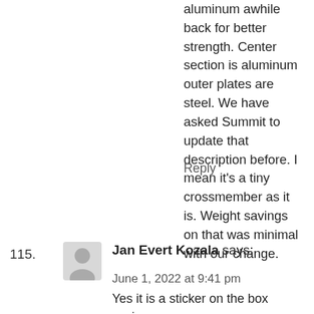aluminum awhile back for better strength. Center section is aluminum outer plates are steel. We have asked Summit to update that description before. I mean it's a tiny crossmember as it is. Weight savings on that was minimal with our change.
Reply
115.
Jan Evert Kozala says:
June 1, 2022 at 9:41 pm
Yes it is a sticker on the box saying: “PO478322022, Quanty: 1 Sell: 1, AWR-XFFO-10101, X-